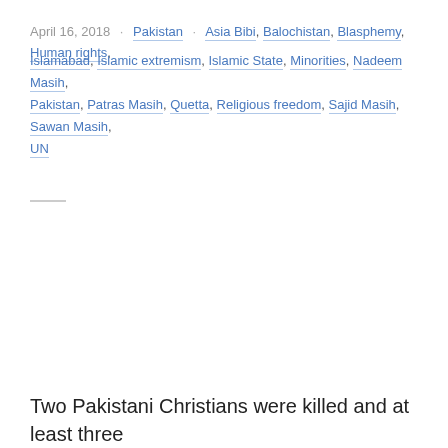April 16, 2018 · Pakistan · Asia Bibi, Balochistan, Blasphemy, Human rights, Islamabad, Islamic extremism, Islamic State, Minorities, Nadeem Masih, Pakistan, Patras Masih, Quetta, Religious freedom, Sajid Masih, Sawan Masih, UN
Two Pakistani Christians were killed and at least three